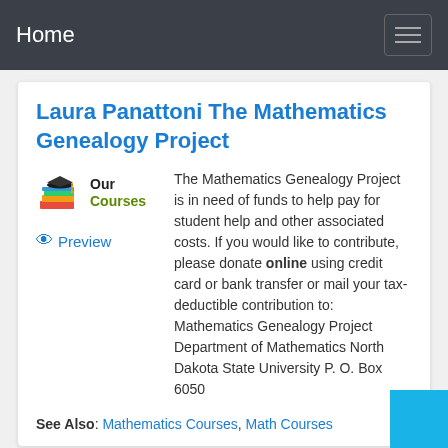Home
Laura Panattoni The Mathematics Genealogy Project
[Figure (illustration): Graduation cap and books icon with text 'Our Courses' and a Preview link below]
The Mathematics Genealogy Project is in need of funds to help pay for student help and other associated costs. If you would like to contribute, please donate online using credit card or bank transfer or mail your tax-deductible contribution to: Mathematics Genealogy Project Department of Mathematics North Dakota State University P. O. Box 6050
See Also: Mathematics Courses, Math Courses